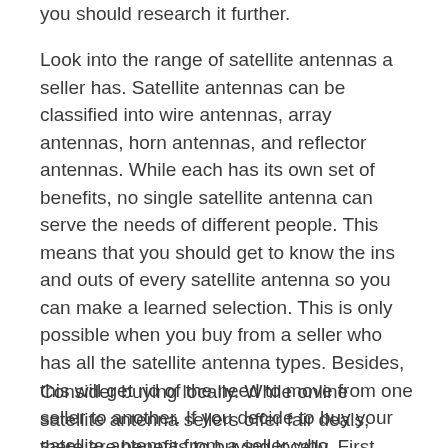you should research it further.
Look into the range of satellite antennas a seller has. Satellite antennas can be classified into wire antennas, array antennas, horn antennas, and reflector antennas. While each has its own set of benefits, no single satellite antenna can serve the needs of different people. This means that you should get to know the ins and outs of every satellite antenna so you can make a learned selection. This is only possible when you buy from a seller who has all the satellite antenna types. Besides, this will get rid of the need to move from one seller to another. If you decide to buy your satellite antenna from a seller who specializes in some types, they will give you filtered information hence forcing you to end up with an antenna that cannot serve your needs.
Consider buying locally. While online satellite antenna sellers offer fair deals, there are benefits to buying locally. First, you can be sure of antenna quality as